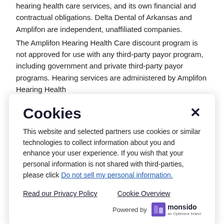hearing health care services, and its own financial and contractual obligations. Delta Dental of Arkansas and Amplifon are independent, unaffiliated companies.
The Amplifon Hearing Health Care discount program is not approved for use with any third-party payor program, including government and private third-party payor programs. Hearing services are administered by Amplifon Hearing Health Care, Corp.
Cookies
This website and selected partners use cookies or similar technologies to collect information about you and enhance your user experience. If you wish that your personal information is not shared with third-parties, please click Do not sell my personal information.
Read our Privacy Policy    Cookie Overview    Powered by monsido an Optimere brand